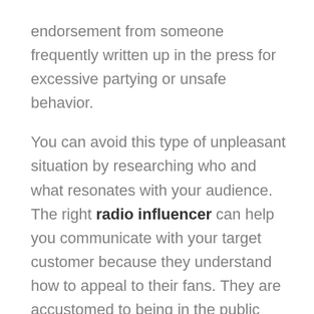endorsement from someone frequently written up in the press for excessive partying or unsafe behavior.
You can avoid this type of unpleasant situation by researching who and what resonates with your audience. The right radio influencer can help you communicate with your target customer because they understand how to appeal to their fans. They are accustomed to being in the public arena and conscious of how their actions and words influence their audience, their personal brand, and the brands they endorse.